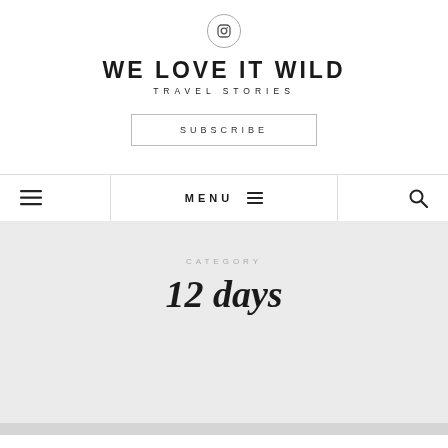[Figure (logo): Instagram icon in a circle]
WE LOVE IT WILD
TRAVEL STORIES
SUBSCRIBE
MENU
CATEGORY
12 days